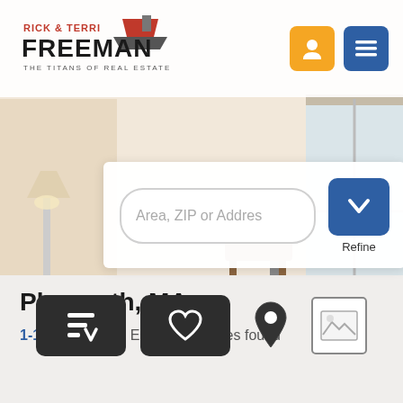[Figure (logo): Rick & Terri Freeman – The Titans of Real Estate logo with house roof graphic]
[Figure (screenshot): Room interior background image – light wood floors, furniture, window]
Area, ZIP or Addres
Refine
[Figure (infographic): Toolbar with sort icon button (dark), heart/favorites button (dark), map pin icon, and gallery/image icon]
Plymouth, MA
1-12 of 397 Real Estate Properties found